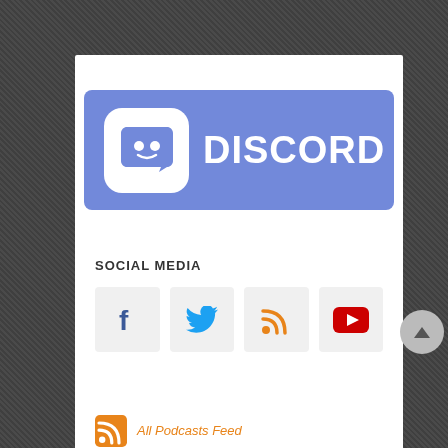[Figure (logo): Discord logo — purple/blue rounded rectangle badge with white Discord robot icon on left and white text 'DISCORD' on right]
SOCIAL MEDIA
[Figure (infographic): Four social media icon buttons in a row: Facebook (blue f), Twitter (blue bird), RSS feed (orange signal), YouTube (red play button)]
All Podcasts Feed
Know Direction